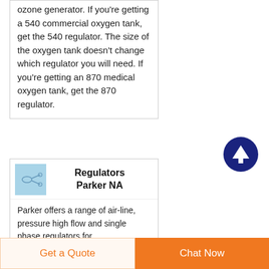ozone generator. If you're getting a 540 commercial oxygen tank, get the 540 regulator. The size of the oxygen tank doesn't change which regulator you will need. If you're getting an 870 medical oxygen tank, get the 870 regulator.
[Figure (other): Dark navy blue circular scroll-to-top arrow button icon]
Regulators Parker NA
[Figure (photo): Small thumbnail image of regulators/tubing on light blue background]
Parker offers a range of air-line, pressure high flow and single phase regulators for instrumentation, filtration, refrigeration, and more...
Get a Quote
Chat Now